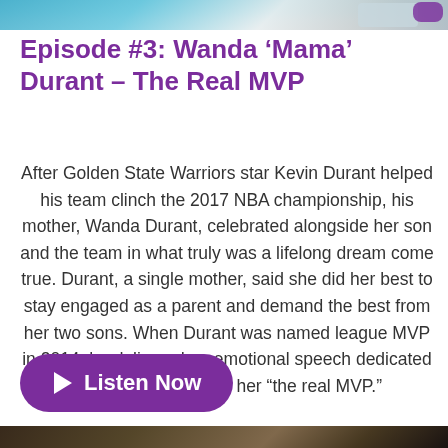[Figure (photo): Top banner image showing people, partially cropped at the top of the page]
Episode #3: Wanda ‘Mama’ Durant – The Real MVP
After Golden State Warriors star Kevin Durant helped his team clinch the 2017 NBA championship, his mother, Wanda Durant, celebrated alongside her son and the team in what truly was a lifelong dream come true. Durant, a single mother, said she did her best to stay engaged as a parent and demand the best from her two sons. When Durant was named league MVP in 2014, he delivered an emotional speech dedicated to his mother, calling her “the real MVP.”
[Figure (other): Purple rounded button with play icon and text 'Listen Now']
[Figure (photo): Bottom banner image, partially shown at the bottom of the page]